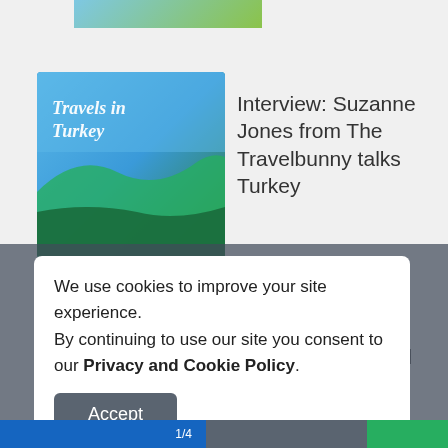[Figure (photo): Partially cropped thumbnail image of a scenic location, top of page]
[Figure (photo): Thumbnail image for article: Travels in Turkey book cover with turquoise sea and coastal scenery]
Interview: Suzanne Jones from The Travelbunny talks Turkey
[Figure (photo): Thumbnail image of a paraglider over green coastal landscape in Turkey]
Interview: Phoebe Greenacre talks all about Turkey
We use cookies to improve your site experience.
By continuing to use our site you consent to our Privacy and Cookie Policy.
Accept